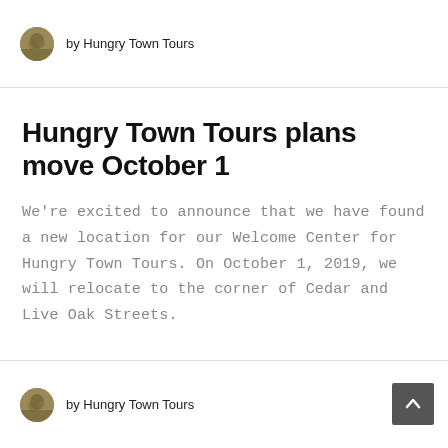by Hungry Town Tours
Hungry Town Tours plans move October 1
We're excited to announce that we have found a new location for our Welcome Center for Hungry Town Tours. On October 1, 2019, we will relocate to the corner of Cedar and Live Oak Streets.
by Hungry Town Tours